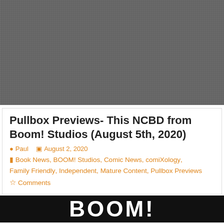[Figure (photo): Gray textured/grid background image filling the top portion of the page]
Pullbox Previews- This NCBD from Boom! Studios (August 5th, 2020)
Paul  August 2, 2020
Book News, BOOM! Studios, Comic News, comiXology, Family Friendly, Independent, Mature Content, Pullbox Previews
Comments
[Figure (photo): Black and white BOOM! Studios logo/text preview image]